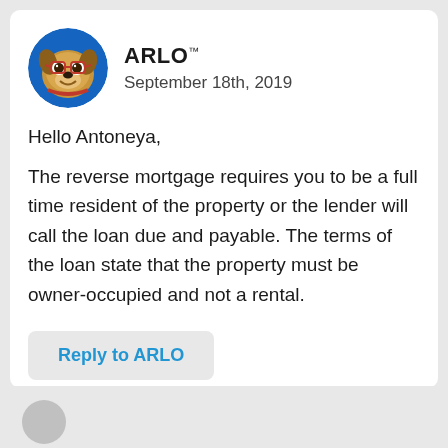[Figure (illustration): Cartoon dog mascot avatar with glasses and red collar in a blue circle]
ARLO™
September 18th, 2019
Hello Antoneya,
The reverse mortgage requires you to be a full time resident of the property or the lender will call the loan due and payable. The terms of the loan state that the property must be owner-occupied and not a rental.
Reply to ARLO